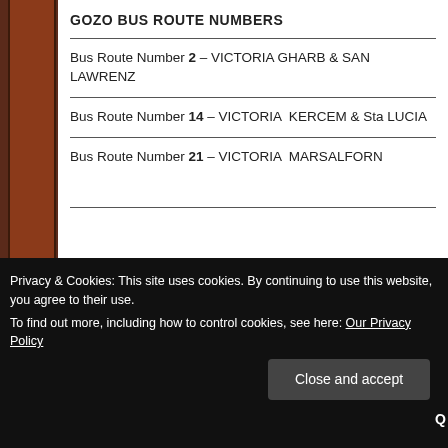GOZO BUS ROUTE NUMBERS
Bus Route Number 2 – VICTORIA GHARB & SAN LAWRENZ
Bus Route Number 14 – VICTORIA KERCEM & Sta LUCIA
Bus Route Number 21 – VICTORIA MARSALFORN
Privacy & Cookies: This site uses cookies. By continuing to use this website, you agree to their use. To find out more, including how to control cookies, see here: Our Privacy Policy